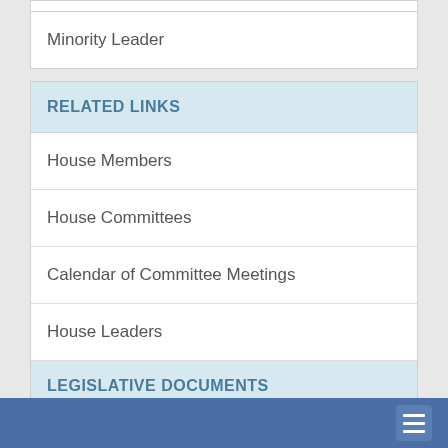Minority Leader
RELATED LINKS
House Members
House Committees
Calendar of Committee Meetings
House Leaders
LEGISLATIVE DOCUMENTS
House Bills & Resolutions
Republic Acts